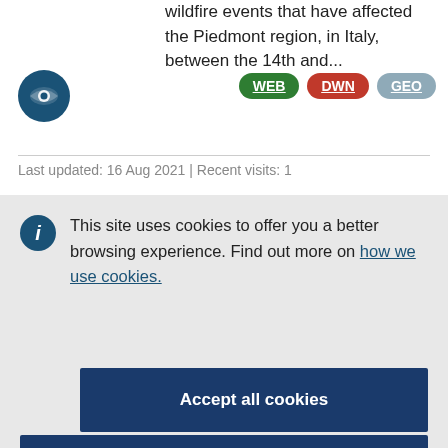wildfire events that have affected the Piedmont region, in Italy, between the 14th and...
[Figure (logo): Blue circular eye icon logo]
WEB DWN GEO (badge buttons)
Last updated: 16 Aug 2021 | Recent visits: 1
This site uses cookies to offer you a better browsing experience. Find out more on how we use cookies.
Accept all cookies
Accept only essential cookies